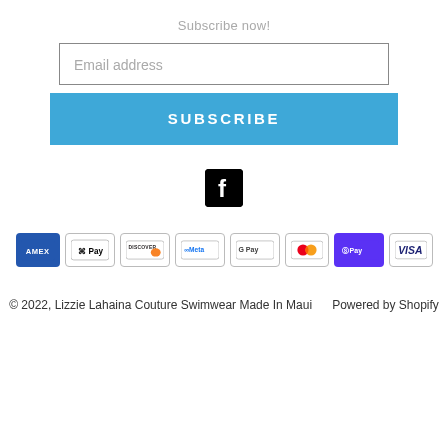Subscribe now!
Email address
SUBSCRIBE
[Figure (logo): Facebook logo icon — white 'f' on black rounded-square background]
[Figure (infographic): Payment method badges: AMEX, Apple Pay, DISCOVER, Meta, Google Pay, Mastercard, Shop Pay, VISA]
© 2022, Lizzie Lahaina Couture Swimwear Made In Maui      Powered by Shopify